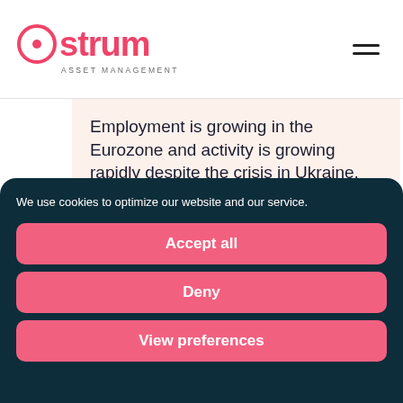Ostrum Asset Management
Employment is growing in the Eurozone and activity is growing rapidly despite the crisis in Ukraine. However, the room for manoeuvre in the management of the economy is limited. Very
We use cookies to optimize our website and our service.
Accept all
Deny
View preferences